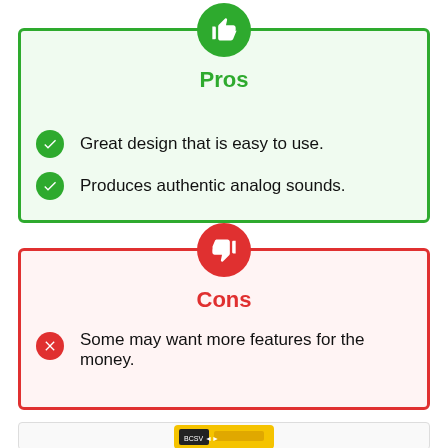Pros
Great design that is easy to use.
Produces authentic analog sounds.
Cons
Some may want more features for the money.
[Figure (photo): Partial view of a yellow product (possibly a tool or device) at the bottom of the page]